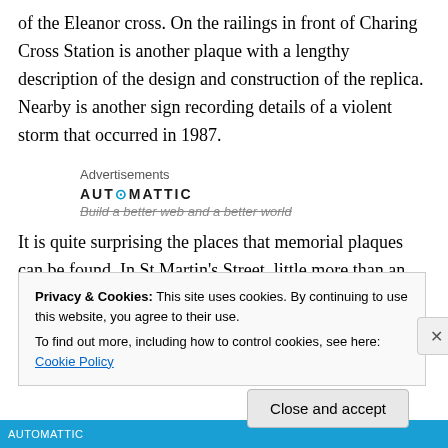of the Eleanor cross. On the railings in front of Charing Cross Station is another plaque with a lengthy description of the design and construction of the replica. Nearby is another sign recording details of a violent storm that occurred in 1987.
Advertisements
[Figure (logo): Automattic logo with text 'Build a better web and a better world']
It is quite surprising the places that memorial plaques can be found. In St Martin's Street, little more than an alley
Privacy & Cookies: This site uses cookies. By continuing to use this website, you agree to their use.
To find out more, including how to control cookies, see here: Cookie Policy
Close and accept